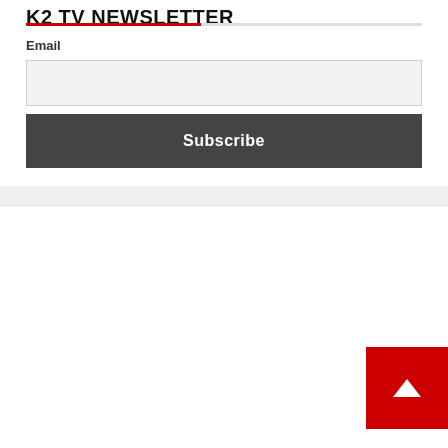K2 TV NEWSLETTER
Email
[Figure (screenshot): Email input field, empty, light gray background]
Subscribe
[Figure (screenshot): Back to top button, red square with white upward arrow]